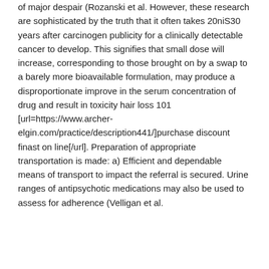of major despair (Rozanski et al. However, these research are sophisticated by the truth that it often takes 20niS30 years after carcinogen publicity for a clinically detectable cancer to develop. This signifies that small dose will increase, corresponding to those brought on by a swap to a barely more bioavailable formulation, may produce a disproportionate improve in the serum concentration of drug and result in toxicity hair loss 101 [url=https://www.archer-elgin.com/practice/description441/]purchase discount finast on line[/url]. Preparation of appropriate transportation is made: a) Efficient and dependable means of transport to impact the referral is secured. Urine ranges of antipsychotic medications may also be used to assess for adherence (Velligan et al.